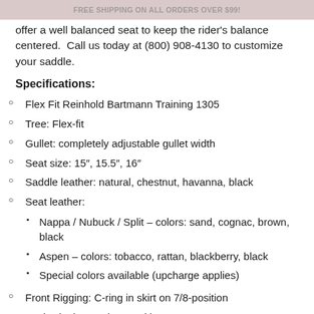FREE SHIPPING ON ALL ORDERS OVER $99!
offer a well balanced seat to keep the rider's balance centered. Call us today at (800) 908-4130 to customize your saddle.
Specifications:
Flex Fit Reinhold Bartmann Training 1305
Tree: Flex-fit
Gullet: completely adjustable gullet width
Seat size: 15″, 15.5″, 16″
Saddle leather: natural, chestnut, havanna, black
Seat leather:
Nappa / Nubuck / Split - colors: sand, cognac, brown, black
Aspen - colors: tobacco, rattan, blackberry, black
Special colors available (upcharge applies)
Front Rigging: C-ring in skirt on 7/8-position
Back Rigging: D-ring on skirt